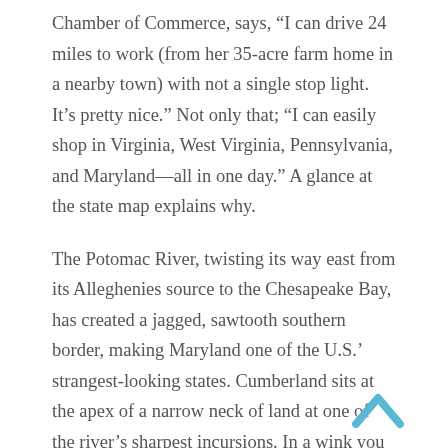Chamber of Commerce, says, “I can drive 24 miles to work (from her 35-acre farm home in a nearby town) with not a single stop light. It’s pretty nice.” Not only that; “I can easily shop in Virginia, West Virginia, Pennsylvania, and Maryland—all in one day.” A glance at the state map explains why.
The Potomac River, twisting its way east from its Alleghenies source to the Chesapeake Bay, has created a jagged, sawtooth southern border, making Maryland one of the U.S.’ strangest-looking states. Cumberland sits at the apex of a narrow neck of land at one of the river’s sharpest incursions. In a wink you can be in West Virginia to the south. Five miles north is Pennsylvania.
[Figure (illustration): Light blue upward-pointing chevron / caret icon in the bottom-right corner]